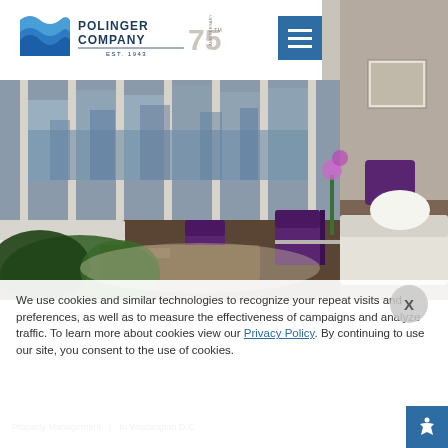[Figure (photo): Interior of a luxury apartment living room with large floor-to-ceiling windows, white sofas with nail-head trim, purple velvet accent chairs, dark wood floors, green plants, and a city skyline visible through the windows. Polinger Company logo and navigation header overlay the top of the image.]
[Figure (logo): Polinger Company 75th Anniversary logo with blue wave emblem, company name in navy text, EST. 1943, and 75 ANNIVERSARY in large stylized numerals]
We use cookies and similar technologies to recognize your repeat visits and preferences, as well as to measure the effectiveness of campaigns and analyze traffic. To learn more about cookies view our Privacy Policy. By continuing to use our site, you consent to the use of cookies.